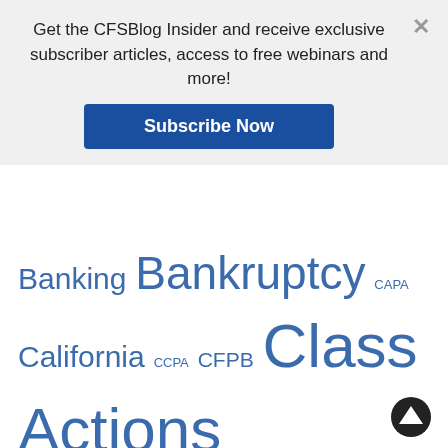Get the CFSBlog Insider and receive exclusive subscriber articles, access to free webinars and more!
Subscribe Now
Banking Bankruptcy CAPA California CCPA CFPB Class Actions compliance credit credit reporting Data Protection Debt Collection Eighth Circuit Eleventh Circuit FCCPA FCRA FDCPA Federal Regulation Fifth Circuit First Circuit Florida Foreclosure Fourth Circuit FTC HOA insurance law loan modification Mortgage Law New Jersey Ninth Circuit Privacy Receivables